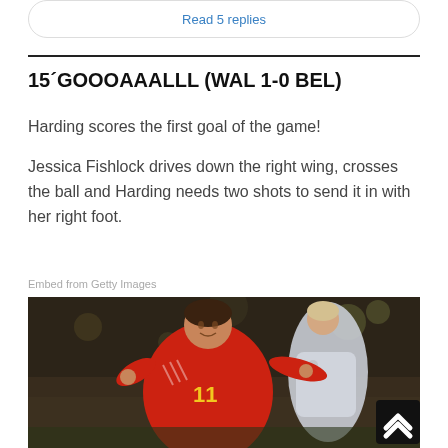Read 5 replies
15´GOOOAAALLL (WAL 1-0 BEL)
Harding scores the first goal of the game!
Jessica Fishlock drives down the right wing, crosses the ball and Harding needs two shots to send it in with her right foot.
Embed from Getty Images
[Figure (photo): A footballer wearing a red jersey with number 11 celebrating a goal, with another player in a white/light blue jersey in the background.]